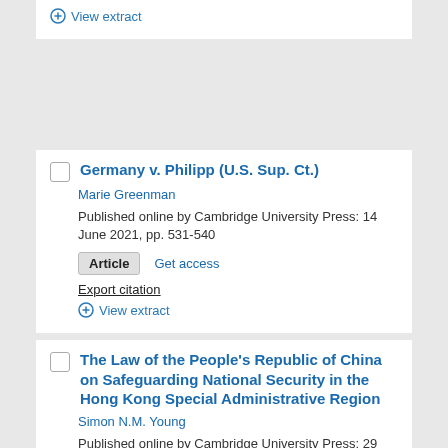⊕ View extract
Germany v. Philipp (U.S. Sup. Ct.)
Marie Greenman
Published online by Cambridge University Press: 14 June 2021, pp. 531-540
Article   Get access
Export citation
⊕ View extract
The Law of the People's Republic of China on Safeguarding National Security in the Hong Kong Special Administrative Region
Simon N.M. Young
Published online by Cambridge University Press: 29 December 2020, pp. 1-17